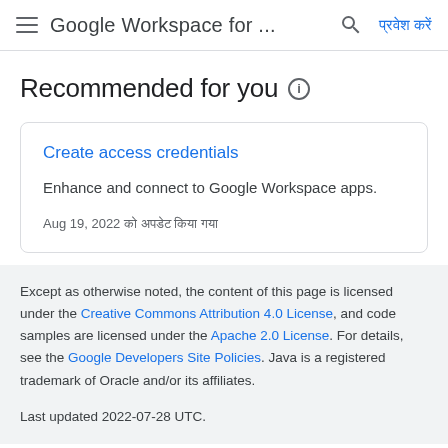Google Workspace for ...  प्रवेश करें
Recommended for you
Create access credentials
Enhance and connect to Google Workspace apps.
Aug 19, 2022 को अपडेट किया गया
Except as otherwise noted, the content of this page is licensed under the Creative Commons Attribution 4.0 License, and code samples are licensed under the Apache 2.0 License. For details, see the Google Developers Site Policies. Java is a registered trademark of Oracle and/or its affiliates.

Last updated 2022-07-28 UTC.